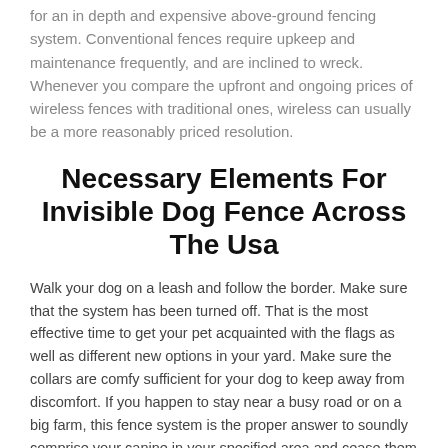for an in depth and expensive above-ground fencing system. Conventional fences require upkeep and maintenance frequently, and are inclined to wreck. Whenever you compare the upfront and ongoing prices of wireless fences with traditional ones, wireless can usually be a more reasonably priced resolution.
Necessary Elements For Invisible Dog Fence Across The Usa
Walk your dog on a leash and follow the border. Make sure that the system has been turned off. That is the most effective time to get your pet acquainted with the flags as well as different new options in your yard. Make sure the collars are comfy sufficient for your dog to keep away from discomfort. If you happen to stay near a busy road or on a big farm, this fence system is the proper answer to soundly comprise your canine in your specified area and cease them from wandering onto neighboring properties.
A wireless canine fence is a really effective approach to keep your canine safely within the confines of the perimeter that you simply set, with out the need for a physical fence or wall, however they must be